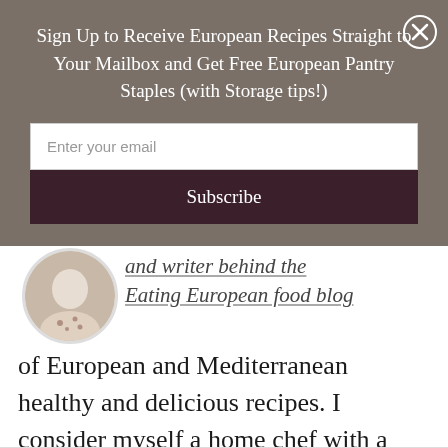Sign Up to Receive European Recipes Straight to Your Mailbox and Get Free European Pantry Staples (with Storage tips!)
Enter your email
Subscribe
and writer behind the Eating European food blog of European and Mediterranean healthy and delicious recipes. I consider myself a home chef with a cultivated passion for amazing food. Read More...